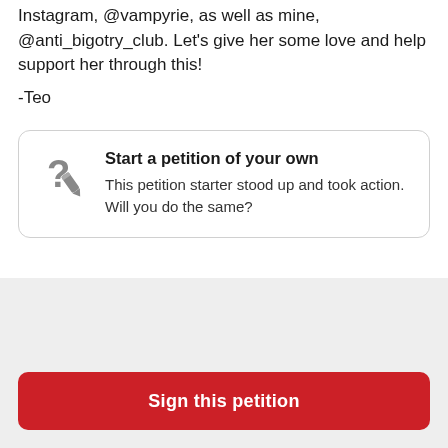Instagram, @vampyrie, as well as mine, @anti_bigotry_club. Let's give her some love and help support her through this!
-Teo
Start a petition of your own
This petition starter stood up and took action. Will you do the same?
Sign this petition